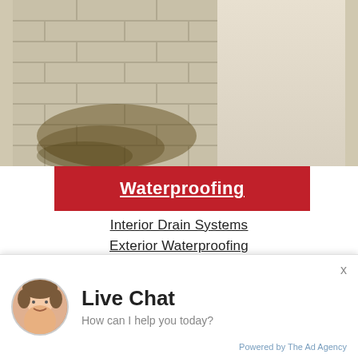[Figure (photo): Photo of a concrete block basement wall corner showing water staining and moisture damage/efflorescence]
Waterproofing
Interior Drain Systems
Exterior Waterproofing
Drainage Improvements
French Drains
Sump Pumps
Crack Repair
Learn More
Live Chat
How can I help you today?
Powered by The Ad Agency